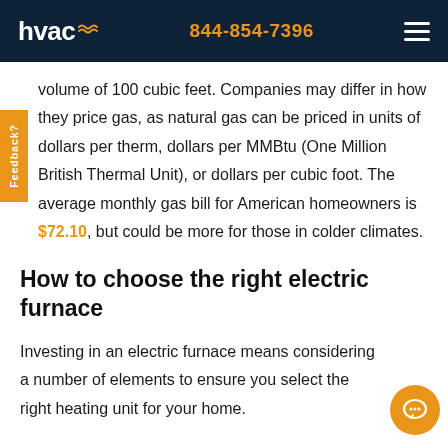hvac  844-854-7396
volume of 100 cubic feet. Companies may differ in how they price gas, as natural gas can be priced in units of dollars per therm, dollars per MMBtu (One Million British Thermal Unit), or dollars per cubic foot. The average monthly gas bill for American homeowners is $72.10, but could be more for those in colder climates.
How to choose the right electric furnace
Investing in an electric furnace means considering a number of elements to ensure you select the right heating unit for your home.